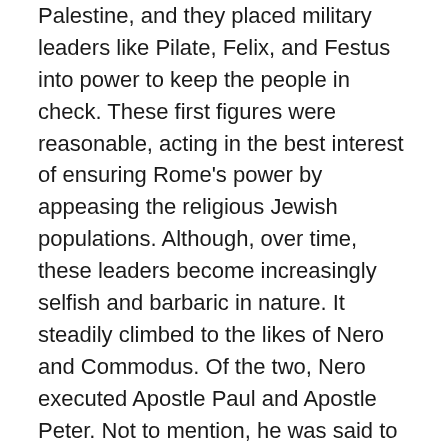Palestine, and they placed military leaders like Pilate, Felix, and Festus into power to keep the people in check. These first figures were reasonable, acting in the best interest of ensuring Rome's power by appeasing the religious Jewish populations. Although, over time, these leaders become increasingly selfish and barbaric in nature. It steadily climbed to the likes of Nero and Commodus. Of the two, Nero executed Apostle Paul and Apostle Peter. Not to mention, he was said to have lit Christians on fire to light his garden during the night. Meanwhile, Commodus was volatile, putting his sister to death; and he established an irrational personality-cult centered on himself. Statues and all, he insanely claimed to be a god.
Historical Rome teaches a grave lesson to modern Americans. The robust, cultural defenses which protect